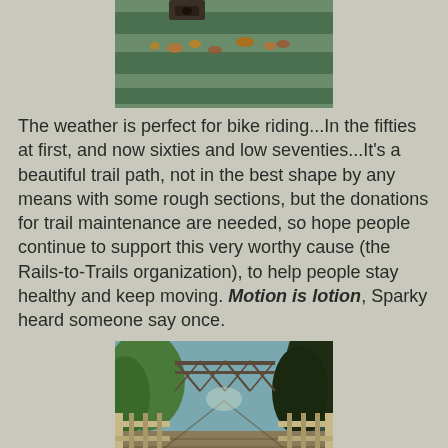[Figure (photo): Close-up of green painted wooden bench slats with autumn leaves scattered on them and a metal bracket/lock visible]
The weather is perfect for bike riding...In the fifties at first, and now sixties and low seventies...It's a beautiful trail path, not in the best shape by any means with some rough sections, but the donations for trail maintenance are needed, so hope people continue to support this very worthy cause (the Rails-to-Trails organization), to help people stay healthy and keep moving. Motion is lotion, Sparky heard someone say once.
[Figure (photo): View along a wooden bridge/boardwalk trail leading through trees toward a metal truss bridge structure in the background, with wooden railings on both sides]